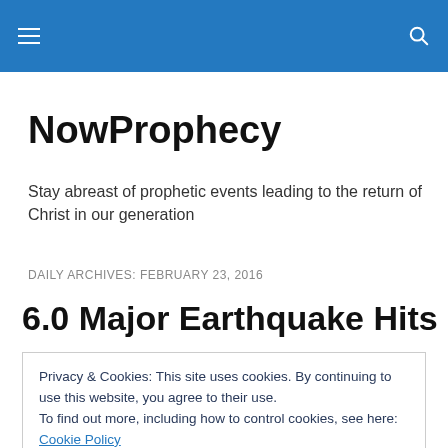NowProphecy — site navigation bar
NowProphecy
Stay abreast of prophetic events leading to the return of Christ in our generation
DAILY ARCHIVES: FEBRUARY 23, 2016
6.0 Major Earthquake Hits Near
Privacy & Cookies: This site uses cookies. By continuing to use this website, you agree to their use.
To find out more, including how to control cookies, see here: Cookie Policy
QUAKES.